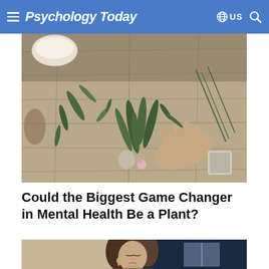Psychology Today
[Figure (photo): Overhead view of herbs and green leaves spread across a wooden table, with a hand arranging the plants. Bowls and cups visible in the corners.]
Could the Biggest Game Changer in Mental Health Be a Plant?
[Figure (photo): A woman with brown hair, eyes closed, appearing to be in meditation or deep thought. Background shows a blurred indoor setting.]